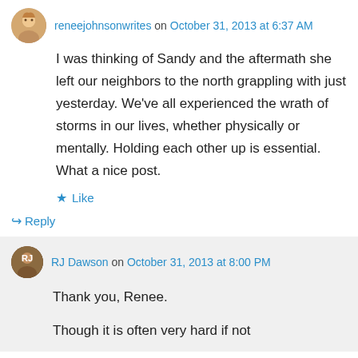reneejohnsonwrites on October 31, 2013 at 6:37 AM
I was thinking of Sandy and the aftermath she left our neighbors to the north grappling with just yesterday. We’ve all experienced the wrath of storms in our lives, whether physically or mentally. Holding each other up is essential. What a nice post.
★ Like
↵ Reply
RJ Dawson on October 31, 2013 at 8:00 PM
Thank you, Renee.
Though it is often very hard if not